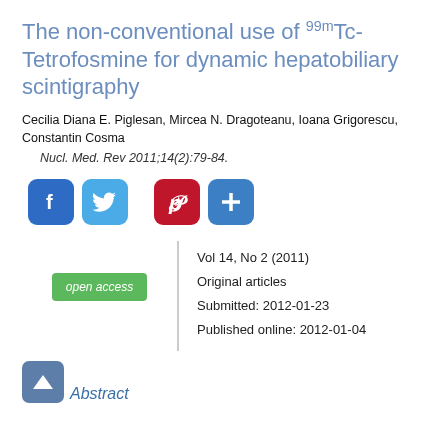The non-conventional use of 99mTc-Tetrofosmine for dynamic hepatobiliary scintigraphy
Cecilia Diana E. Piglesan, Mircea N. Dragoteanu, Ioana Grigorescu, Constantin Cosma
Nucl. Med. Rev 2011;14(2):79-84.
[Figure (infographic): Social sharing buttons: Facebook (blue), Twitter (light blue), Pinterest (red), Add/Share (blue)]
Vol 14, No 2 (2011)
Original articles
Submitted: 2012-01-23
Published online: 2012-01-04
[Figure (infographic): Green 'open access' button label]
Abstract